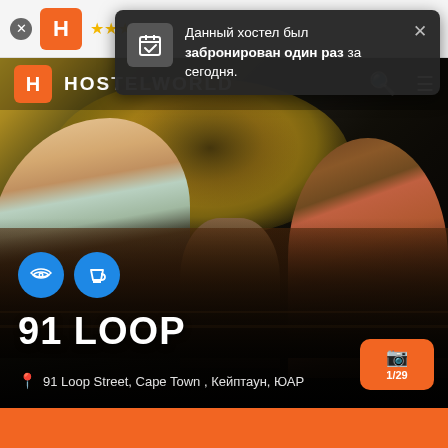[Figure (screenshot): Hostelworld app screenshot showing tooltip popup saying hostel was booked once today, with the main hostel photo page for 91 Loop in Cape Town, South Africa. Shows a group of young people playing foosball against a yellow mural wall, with WiFi and cafe amenity icons, hostel name 91 LOOP, address 91 Loop Street, Cape Town, Кейптаун, ЮАР, and a photo counter showing 1/29.]
Данный хостел был забронирован один раз за сегодня.
91 LOOP
91 Loop Street, Cape Town , Кейптаун, ЮАР
1/29